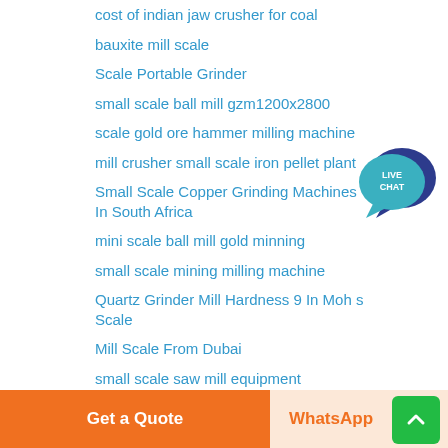cost of indian jaw crusher for coal
bauxite mill scale
Scale Portable Grinder
small scale ball mill gzm1200x2800
scale gold ore hammer milling machine
mill crusher small scale iron pellet plant
Small Scale Copper Grinding Machines In South Africa
mini scale ball mill gold minning
small scale mining milling machine
Quartz Grinder Mill Hardness 9 In Moh s Scale
Mill Scale From Dubai
small scale saw mill equipment
[Figure (logo): Live Chat speech bubble badge in teal/dark blue]
Get a Quote
WhatsApp